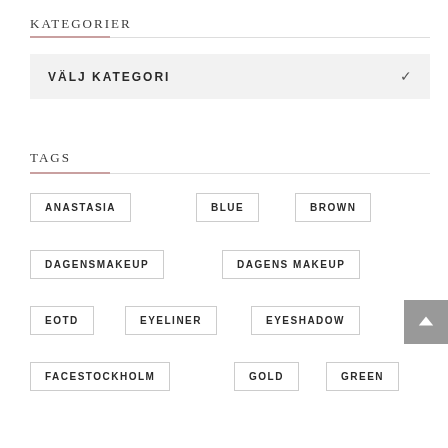KATEGORIER
VÄLJ KATEGORI
TAGS
ANASTASIA
BLUE
BROWN
DAGENSMAKEUP
DAGENS MAKEUP
EOTD
EYELINER
EYESHADOW
FACESTOCKHOLM
GOLD
GREEN